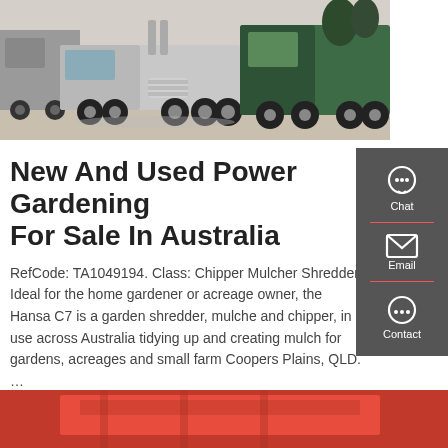[Figure (photo): Row of large semi-trucks and transport vehicles parked in a yard, viewed from front-side angle]
New And Used Power Gardening For Sale In Australia
RefCode: TA1049194. Class: Chipper Mulcher Shredder. Ideal for the home gardener or acreage owner, the Hansa C7 is a garden shredder, mulcher and chipper, in use across Australia tidying up and creating mulch for gardens, acreages and small farms. Coopers Plains, QLD. …
[Figure (infographic): Sidebar panel with Chat, Email, and Contact buttons on dark grey background]
[Figure (photo): Bottom partial photo showing red machinery or equipment]